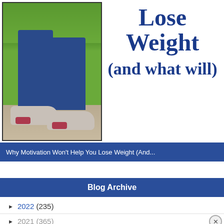[Figure (photo): Photo of a person's legs in blue jeans and grey/white sneakers walking on a gravel path with green grass in the background. Only the lower half of the person is visible.]
Lose Weight (and what will)
Why Motivation Won't Help You Lose Weight (And...
Blog Archive
► 2022 (235)
► 2021 (365)
► 2020 (271)